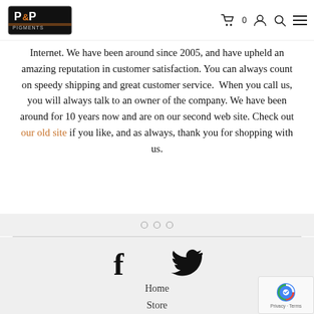P&P Pigments logo, cart 0, user icon, search icon, menu icon
Internet. We have been around since 2005, and have upheld an amazing reputation in customer satisfaction. You can always count on speedy shipping and great customer service.  When you call us, you will always talk to an owner of the company. We have been around for 10 years now and are on our second web site. Check out our old site if you like, and as always, thank you for shopping with us.
[Figure (other): Three small circles (ellipsis / section break decoration) on a light gray background]
[Figure (other): Facebook icon (f) and Twitter bird icon in black, social media links]
Home
Store
Custom Paint Jobs